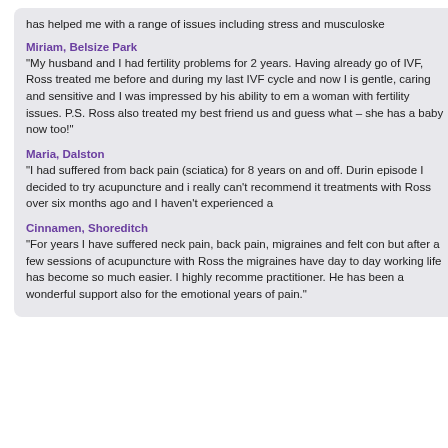has helped me with a range of issues including stress and musculoske
Miriam, Belsize Park
“My husband and I had fertility problems for 2 years. Having already go of IVF, Ross treated me before and during my last IVF cycle and now I is gentle, caring and sensitive and I was impressed by his ability to em a woman with fertility issues. P.S. Ross also treated my best friend us and guess what – she has a baby now too!”
Maria, Dalston
“I had suffered from back pain (sciatica) for 8 years on and off. Durin episode I decided to try acupuncture and i really can’t recommend it treatments with Ross over six months ago and I haven’t experienced a
Cinnamen, Shoreditch
“For years I have suffered neck pain, back pain, migraines and felt con but after a few sessions of acupuncture with Ross the migraines have day to day working life has become so much easier. I highly recomme practitioner. He has been a wonderful support also for the emotional years of pain.”